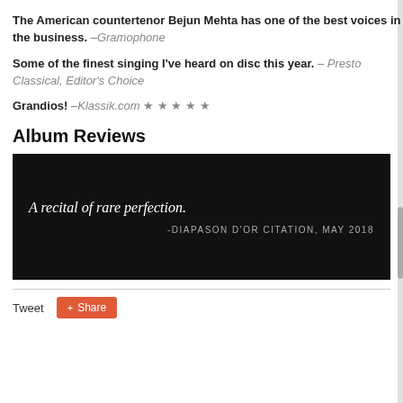The American countertenor Bejun Mehta has one of the best voices in the business. –Gramophone
Some of the finest singing I've heard on disc this year. – Presto Classical, Editor's Choice
Grandios! –Klassik.com ★★★★★
Album Reviews
[Figure (other): Black background promotional quote box reading: 'A recital of rare perfection.' with attribution '-DIAPASON D'OR CITATION, MAY 2018']
Tweet   Share